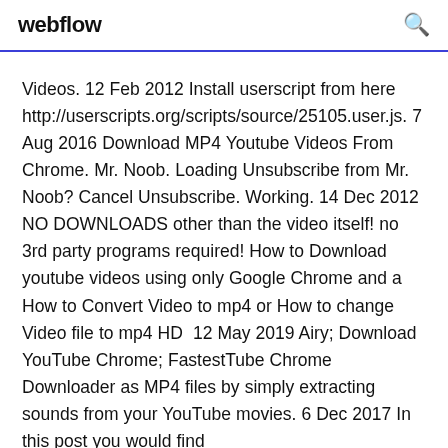webflow
Videos. 12 Feb 2012 Install userscript from here http://userscripts.org/scripts/source/25105.user.js. 7 Aug 2016 Download MP4 Youtube Videos From Chrome. Mr. Noob. Loading Unsubscribe from Mr. Noob? Cancel Unsubscribe. Working. 14 Dec 2012 NO DOWNLOADS other than the video itself! no 3rd party programs required! How to Download youtube videos using only Google Chrome and a How to Convert Video to mp4 or How to change Video file to mp4 HD  12 May 2019 Airy; Download YouTube Chrome; FastestTube Chrome Downloader as MP4 files by simply extracting sounds from your YouTube movies. 6 Dec 2017 In this post you would find